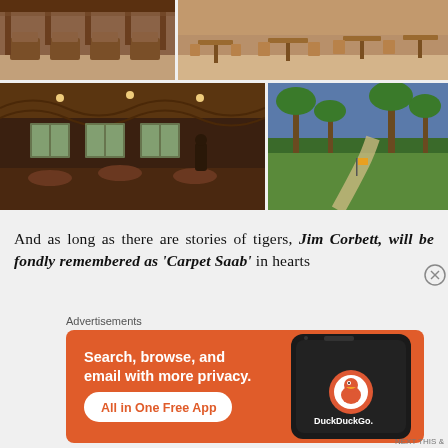[Figure (photo): Top-left: outdoor dining area with wooden lounge chairs/tables on a patio]
[Figure (photo): Top-right: outdoor restaurant seating with wooden tables and chairs, rustic setting]
[Figure (photo): Bottom-left: interior of a restaurant with thatched roof, ambient lighting, and tables set for dining]
[Figure (photo): Bottom-right: garden pathway with palm trees and green lawn]
And as long as there are stories of tigers, Jim Corbett, will be fondly remembered as 'Carpet Saab' in hearts
Advertisements
[Figure (screenshot): DuckDuckGo advertisement banner: orange background with text 'Search, browse, and email with more privacy. All in One Free App' alongside a phone mockup showing the DuckDuckGo app]